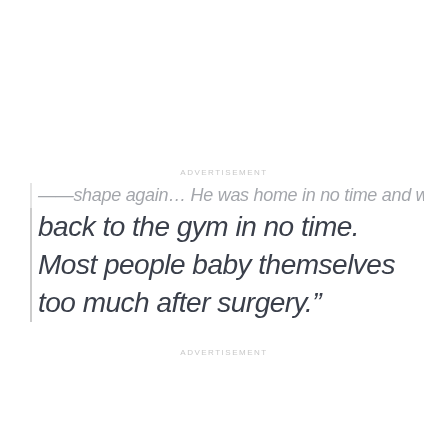ADVERTISEMENT
…shape again… He was home in no time and was back to the gym in no time. Most people baby themselves too much after surgery."
ADVERTISEMENT